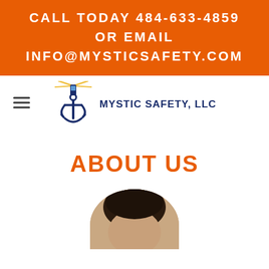CALL TODAY 484-633-4859 OR EMAIL INFO@MYSTICSAFETY.COM
[Figure (logo): Mystic Safety LLC logo with anchor and lighthouse icon and text MYSTIC SAFETY, LLC]
ABOUT US
[Figure (photo): Circular cropped portrait photo of a person, showing top of head with dark hair, from approximately mid-forehead up, against a light background]